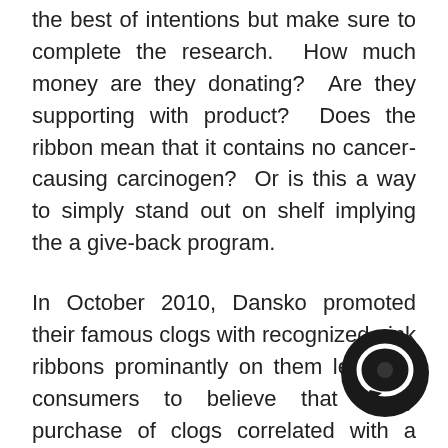the best of intentions but make sure to complete the research. How much money are they donating? Are they supporting with product? Does the ribbon mean that it contains no cancer-causing carcinogen? Or is this a way to simply stand out on shelf implying the a give-back program.
In October 2010, Dansko promoted their famous clogs with recognized pink ribbons prominantly on them leadning consumers to believe that every purchase of clogs correlated with a donation of profits to breast cancer research. Dansko capped their donation of $25,000 to Susan G. Komen for the Cure. It's great that they've donated, but it is also misleading to the consumers. This means that whether they sold 2 pairs, which is unlikely, or a million, they were going to donate that much. Dr. Kristn Abastis McHenry, a professor in UMass Dartmouth College of Arts &
[Figure (other): Chat or messaging icon — dark circular speech bubble icon in lower right corner]